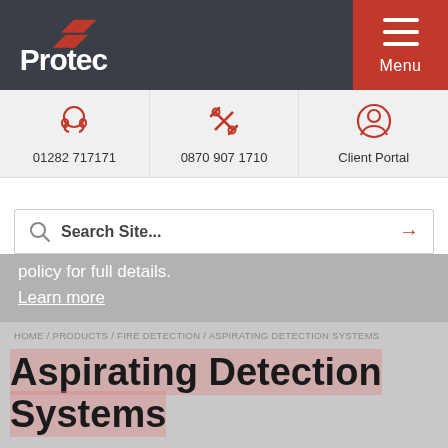[Figure (logo): Protec logo with red chevron marks and white text on dark grey background]
[Figure (infographic): Navigation menu bar with three icons: headset (01282 717171), tools (0870 907 1710), person (Client Portal)]
[Figure (screenshot): Search box with magnifier icon, text 'Search Site...' and red arrow]
Our website uses cookies. Please refer to our cookies policy for full details. Learn more
HOME / PRODUCTS / FIRE DETECTION / ASPIRATING DETECTION SYSTEMS
Aspirating Detection Systems